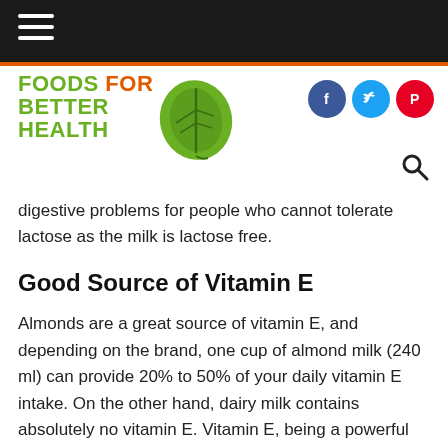Foods For Better Health
provide relief. On top of that, it doesn't cause any digestive problems for people who cannot tolerate lactose as the milk is lactose free.
Good Source of Vitamin E
Almonds are a great source of vitamin E, and depending on the brand, one cup of almond milk (240 ml) can provide 20% to 50% of your daily vitamin E intake. On the other hand, dairy milk contains absolutely no vitamin E. Vitamin E, being a powerful antioxidant, fights stress and inflammation in the body.
In addition, vitamin E has been found to boost brain health and improve mental clarity for memory. According to